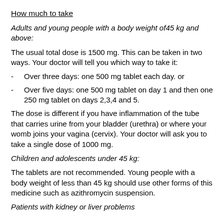How much to take
Adults and young people with a body weight of45 kg and above:
The usual total dose is 1500 mg. This can be taken in two ways. Your doctor will tell you which way to take it:
Over three days: one 500 mg tablet each day. or
Over five days: one 500 mg tablet on day 1 and then one 250 mg tablet on days 2,3,4 and 5.
The dose is different if you have inflammation of the tube that carries urine from your bladder (urethra) or where your womb joins your vagina (cervix). Your doctor will ask you to take a single dose of 1000 mg.
Children and adolescents under 45 kg:
The tablets are not recommended. Young people with a body weight of less than 45 kg should use other forms of this medicine such as azithromycin suspension.
Patients with kidney or liver problems